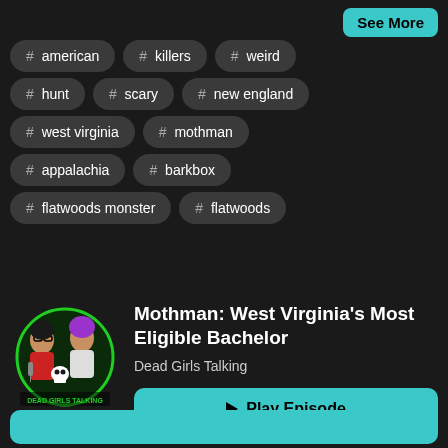See More
# american
# killers
# weird
# hunt
# scary
# new england
# west virginia
# mothman
# appalachia
# barkbox
# flatwoods monster
# flatwoods
[Figure (logo): Dead Girls Talking podcast logo featuring cartoon women with skull, green circle, podcast text]
Mothman: West Virginia's Most Eligible Bachelor
Dead Girls Talking
▶ Play Episode